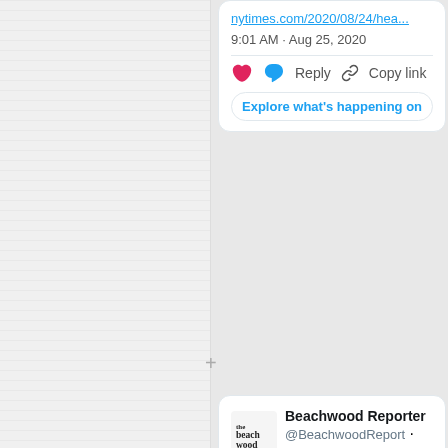[Figure (screenshot): Left panel with horizontal lines pattern, gray background]
nytimes.com/2020/08/24/hea...
9:01 AM · Aug 25, 2020
Reply  Copy link
Explore what's happening on
+
[Figure (screenshot): Beachwood Reporter logo]
Beachwood Reporter @BeachwoodReport · Follow
Trump FDA Administrator admits he on convalescent plasma for COVID-
Dr. Stephen M. Hahn @SteveFDA
have been criticized for remarks I made bout the benefits of convalescent plasm s entirely justified.  What I should have sa he data show a relative risk reduction no sk reduction.
36 PM · Aug 24, 2020 · Twitter for iPhone